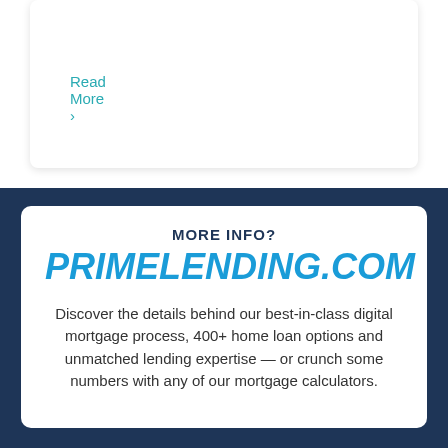Read More ›
MORE INFO?
PRIMELENDING.COM
Discover the details behind our best-in-class digital mortgage process, 400+ home loan options and unmatched lending expertise — or crunch some numbers with any of our mortgage calculators.